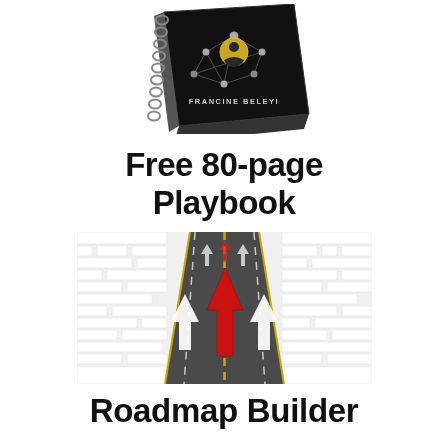[Figure (illustration): A spiral-bound notebook/playbook with a dark black cover showing a network diagram with connected nodes and a profile silhouette icon, with the author name FRANCINE BELEYI on the cover, shown at an angle as a 3D book mockup.]
Free 80-page Playbook
[Figure (illustration): A road stretching into the distance (perspective view) through a white maze/labyrinth, with multiple white upward-pointing arrows on the road lanes and one prominent red upward-pointing arrow in the center lane, symbolizing direction and roadmap.]
Roadmap Builder